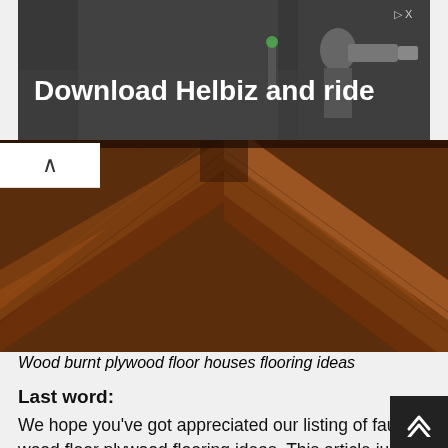[Figure (photo): Advertisement banner with dark background and white bold text 'Download Helbiz and ride', with a close/skip button in top-right corner]
[Figure (photo): Close-up photo of dark brown wood planks arranged in a chevron/herringbone pattern, showing rich wood grain texture]
Wood burnt plywood floor houses flooring ideas
Last word:
We hope you've got appreciated our listing of faux wood floor plywood flooring ideas. This article just goes to show that you know-how and can use anything with some creativity. You do not necessarily need to go out and buy some fancy fresh, either; many of these cheats are cost effective as well as stylish. Make the most of what's